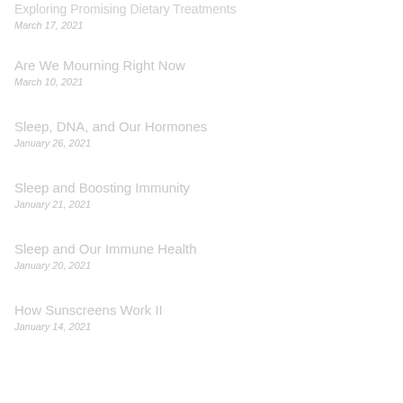Exploring Promising Dietary Treatments
March 17, 2021
Are We Mourning Right Now
March 10, 2021
Sleep, DNA, and Our Hormones
January 26, 2021
Sleep and Boosting Immunity
January 21, 2021
Sleep and Our Immune Health
January 20, 2021
How Sunscreens Work II
January 14, 2021